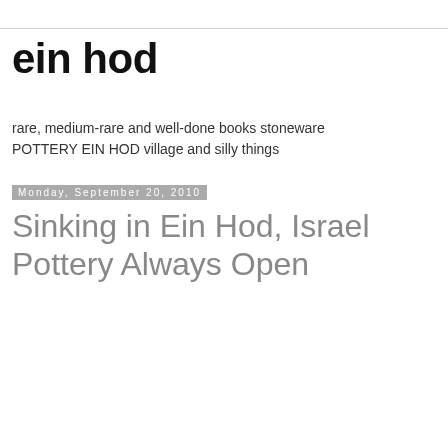ein hod
rare, medium-rare and well-done books stoneware POTTERY EIN HOD village and silly things
Monday, September 20, 2010
Sinking in Ein Hod, Israel Pottery Always Open